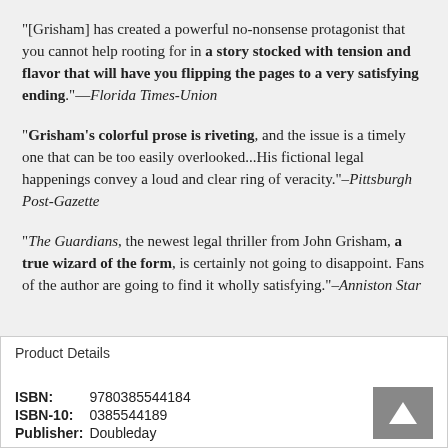"[Grisham] has created a powerful no-nonsense protagonist that you cannot help rooting for in a story stocked with tension and flavor that will have you flipping the pages to a very satisfying ending."—Florida Times-Union
"Grisham's colorful prose is riveting, and the issue is a timely one that can be too easily overlooked...His fictional legal happenings convey a loud and clear ring of veracity."–Pittsburgh Post-Gazette
"The Guardians, the newest legal thriller from John Grisham, a true wizard of the form, is certainly not going to disappoint. Fans of the author are going to find it wholly satisfying."–Anniston Star
Product Details
| ISBN: | 9780385544184 |
| ISBN-10: | 0385544189 |
| Publisher: | Doubleday |